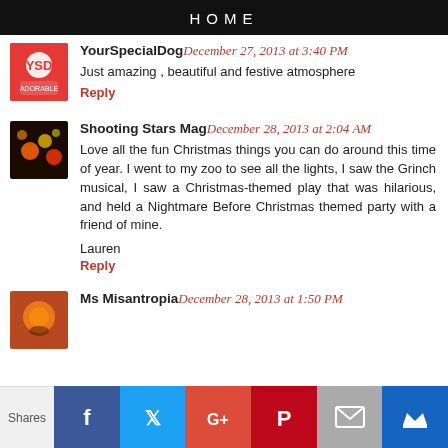HOME
YourSpecialDog December 27, 2013 at 3:40 PM
Just amazing , beautiful and festive atmosphere
Reply
Shooting Stars Mag December 28, 2013 at 2:04 AM
Love all the fun Christmas things you can do around this time of year. I went to my zoo to see all the lights, I saw the Grinch musical, I saw a Christmas-themed play that was hilarious, and held a Nightmare Before Christmas themed party with a friend of mine.

Lauren
Reply
Ms Misantropia December 28, 2013 at 1:50 PM
Shares